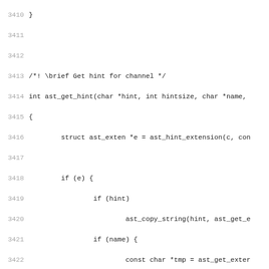Source code listing lines 3410-3442, showing C functions ast_get_hint, ast_exists_extension, ast_findlabel_extension, and ast_findlabel_extension2